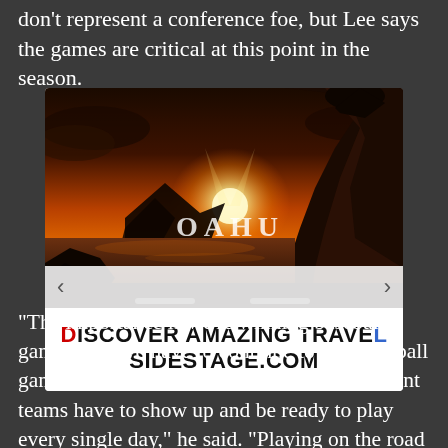don't represent a conference foe, but Lee says the games are critical at this point in the season.
[Figure (photo): Scenic sunset photograph over ocean coastline with rocky cliffs and text overlay reading 'OAHU'. Advertisement image for travel site.]
DISCOVER AMAZING TRAVEL SIDESTAGE.COM
“The importance is we’re winning baseball games, and we have to continue to win baseball games, so we have to be consistent. Consistent teams have to show up and be ready to play every single day,” he said. “Playing on the road is tough, and it’s always tough playing The Citadel - they are a very competitive team. And, you’re